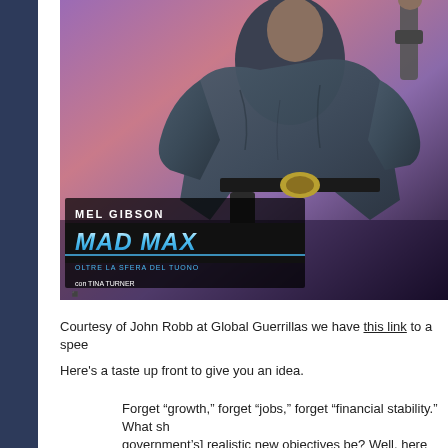[Figure (photo): Movie poster for Mad Max Beyond Thunderdome (Italian: 'Oltre la Sfera del Tuono') featuring Mel Gibson in a worn leather jacket holding a weapon against a purple/pink sunset sky background. Text on poster reads: MEL GIBSON, MAD MAX, OLTRE LA SFERA DEL TUONO, con TINA TURNER]
Courtesy of John Robb at Global Guerrillas we have this link to a spee
Here's a taste up front to give you an idea.
Forget “growth,” forget “jobs,” forget “financial stability.” What sh government’s] realistic new objectives be? Well, here they are: f